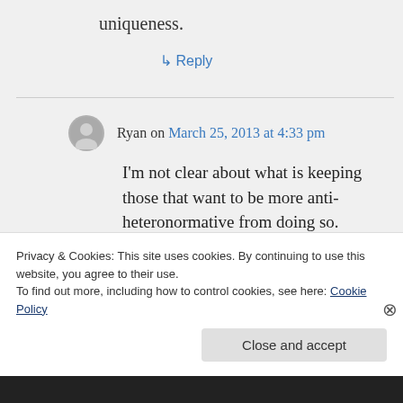uniqueness.
↳ Reply
Ryan on March 25, 2013 at 4:33 pm
I'm not clear about what is keeping those that want to be more anti-heteronormative from doing so. Perhaps it isn't that you can't, but rather it is just not as exciting to do
Privacy & Cookies: This site uses cookies. By continuing to use this website, you agree to their use. To find out more, including how to control cookies, see here: Cookie Policy
Close and accept